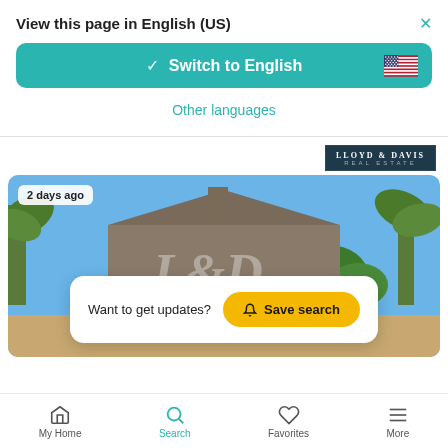View this page in English (US)
×
✓ Switch to English
Other languages
[Figure (screenshot): Lloyd & Davis Real Estate logo on dark navy background]
[Figure (photo): Exterior photo of a house with brown/grey roof and palm trees under blue sky, showing L&D logo watermark]
2 days ago
Want to get updates?
Save search
My Home
Search
Favorites
More